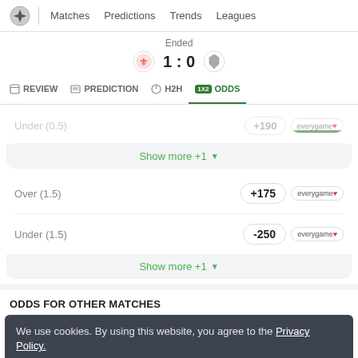Matches  Predictions  Trends  Leagues
Ended 1:0
REVIEW  PREDICTION  H2H  ODDS
Under (0.5)  +190  everygame
Show more +1
Over (1.5)  +175  everygame
Under (1.5)  -250  everygame
Show more +1
ODDS FOR OTHER MATCHES
We use cookies. By using this website, you agree to the Privacy Policy.
OK
Season